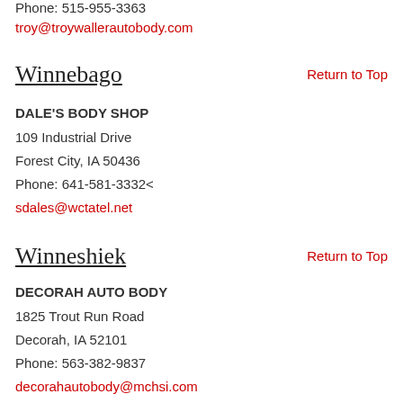Phone: 515-955-3363
troy@troywallerautobody.com
Winnebago
Return to Top
DALE'S BODY SHOP
109 Industrial Drive
Forest City, IA 50436
Phone: 641-581-3332<
sdales@wctatel.net
Winneshiek
Return to Top
DECORAH AUTO BODY
1825 Trout Run Road
Decorah, IA 52101
Phone: 563-382-9837
decorahautobody@mchsi.com